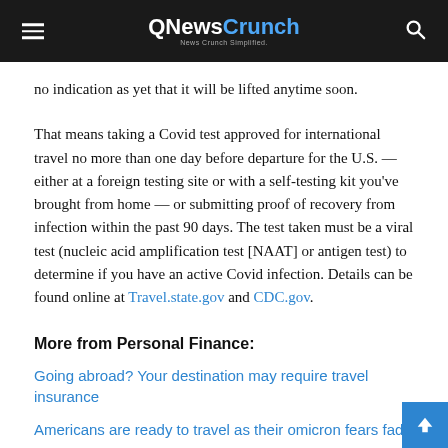QNewsCrunch — News Crunch Simplified
no indication as yet that it will be lifted anytime soon.
That means taking a Covid test approved for international travel no more than one day before departure for the U.S. — either at a foreign testing site or with a self-testing kit you've brought from home — or submitting proof of recovery from infection within the past 90 days. The test taken must be a viral test (nucleic acid amplification test [NAAT] or antigen test) to determine if you have an active Covid infection. Details can be found online at Travel.state.gov and CDC.gov.
More from Personal Finance:
Going abroad? Your destination may require travel insurance
Americans are ready to travel as their omicron fears fade